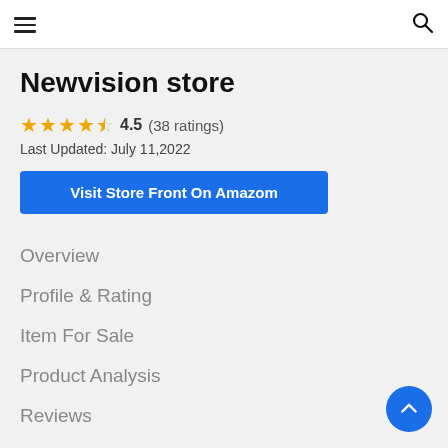Navigation header with hamburger menu and search icon
Newvision store
★★★★☆ 4.5 (38 ratings)
Last Updated: July 11,2022
Visit Store Front On Amazom
Overview
Profile & Rating
Item For Sale
Product Analysis
Reviews
FAQs